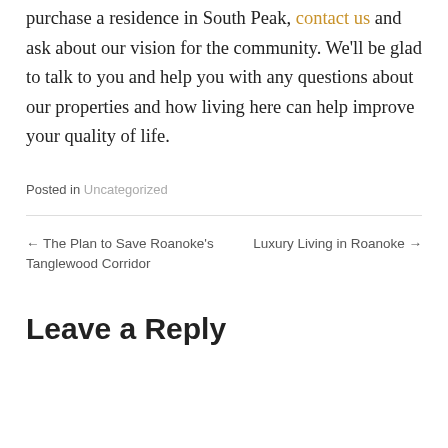purchase a residence in South Peak, contact us and ask about our vision for the community. We'll be glad to talk to you and help you with any questions about our properties and how living here can help improve your quality of life.
Posted in Uncategorized
← The Plan to Save Roanoke's Tanglewood Corridor
Luxury Living in Roanoke →
Leave a Reply